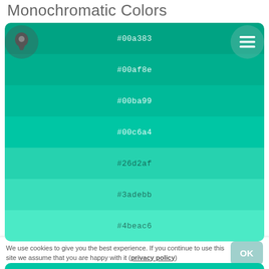Monochromatic Colors
[Figure (infographic): A card showing 7 monochromatic color swatches with hex codes: #00a383, #00af8e, #00ba99, #00c6a4, #26d2af, #3adebb, #4beac6. A dark circular bulb icon overlays the top-left and a teal circular menu icon overlays the top-right.]
Tones
[Figure (infographic): A card showing tones color swatches: #00c6a4, #36b599]
We use cookies to give you the best experience. If you continue to use this site we assume that you are happy with it (privacy policy)